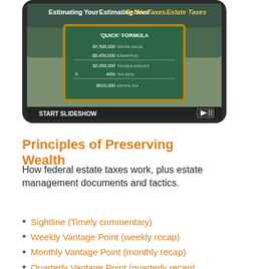[Figure (screenshot): Tablet/phone screen showing a slideshow titled 'Estimating Your Estate Taxes' with a chalkboard displaying the 'QUICK' FORMULA: $7,500,000 GROSS VALUE, -$5,450,000 EXEMPTION, $2,050,000 TAXABLE AMOUNT, X 40% TAX RATE, $820,000 ESTATE TAX. Bottom bar reads 'START SLIDESHOW' with a play icon.]
Principles of Preserving Wealth
How federal estate taxes work, plus estate management documents and tactics.
Sightline (Timely commentary)
Weekly Vantage Point (weekly recap)
Monthly Vantage Point (monthly recap)
Quarterly Vantage Point (quarterly recap)